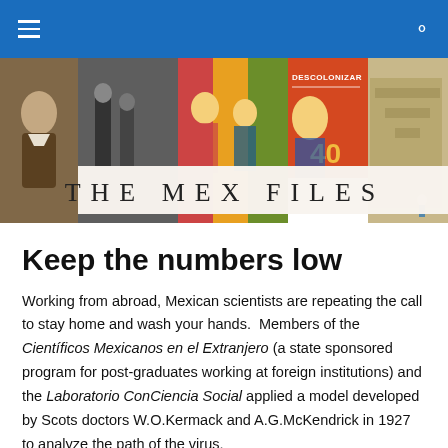THE MEX FILES
Keep the numbers low
Working from abroad, Mexican scientists are repeating the call to stay home and wash your hands.  Members of the Científicos Mexicanos en el Extranjero (a state sponsored program for post-graduates working at foreign institutions) and the Laboratorio ConCiencia Social applied a model developed by Scots doctors W.O.Kermack and A.G.McKendrick in 1927 to analyze the path of the virus,